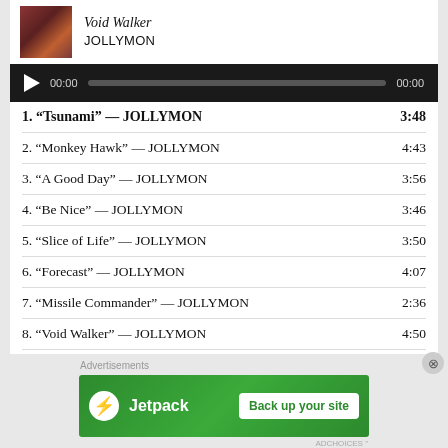[Figure (other): Album artwork thumbnail for Void Walker]
Void Walker
JOLLYMON
[Figure (other): Audio player bar with play button, time 00:00, progress track, and end time 00:00]
1. “Tsunami” — JOLLYMON  3:48
2. “Monkey Hawk” — JOLLYMON  4:43
3. “A Good Day” — JOLLYMON  3:56
4. “Be Nice” — JOLLYMON  3:46
5. “Slice of Life” — JOLLYMON  3:50
6. “Forecast” — JOLLYMON  4:07
7. “Missile Commander” — JOLLYMON  2:36
8. “Void Walker” — JOLLYMON  4:50
9. “Sky Burial” — JOLLYMON  5:03
10. “The Fool” — ASTROLABE  4:18
Advertisements
[Figure (other): Jetpack advertisement banner: Jetpack logo with lightning bolt icon, text 'Jetpack', button 'Back up your site']